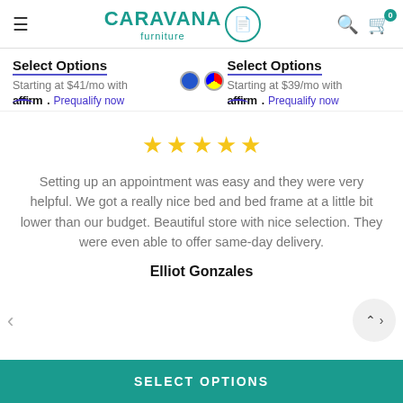Caravana Furniture — navigation header with logo, search, and cart icons
Select Options
Starting at $41/mo with affirm. Prequalify now
Select Options
Starting at $39/mo with affirm. Prequalify now
[Figure (other): Five gold star rating icons]
Setting up an appointment was easy and they were very helpful. We got a really nice bed and bed frame at a little bit lower than our budget. Beautiful store with nice selection. They were even able to offer same-day delivery.
Elliot Gonzales
SELECT OPTIONS